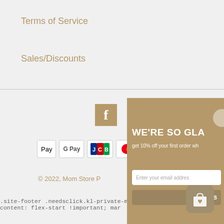Terms of Service
Sales/Discounts
[Figure (logo): Facebook icon - brown/gold square with white F letter]
[Figure (infographic): Payment method badges: Apple Pay, Google Pay, JCB, Mastercard]
© 2022, Mom Store P
.site-footer .needsclick.kl-private-m
content: flex-start !important; mar
[Figure (infographic): Popup overlay with gold/tan background showing WE'RE SO GLA[D] heading, 10% off offer, email input field, submit button, and shopping bag icon]